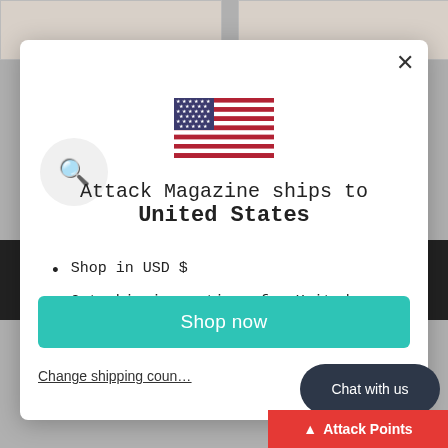[Figure (screenshot): E-commerce modal dialog on Attack Magazine website showing shipping destination selector for United States, with US flag, bullet points, shop now button, and overlapping UI elements including a chat bubble and Attack Points loyalty bar]
Attack Magazine ships to
United States
Shop in USD $
Get shipping options for United States
Shop now
Change shipping country
Chat with us
Attack Points